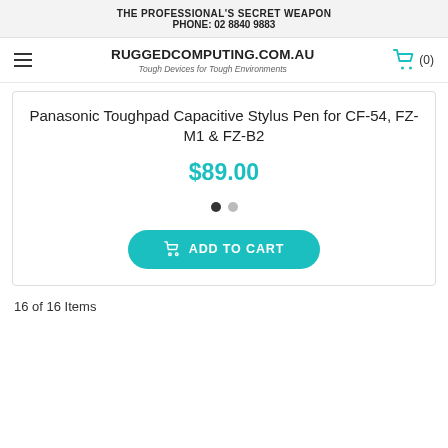THE PROFESSIONAL'S SECRET WEAPON
PHONE: 02 8840 9883
[Figure (logo): RUGGEDCOMPUTING.COM.AU logo with tagline 'Tough Devices for Tough Environments' and a teal shopping cart icon with (0)]
Panasonic Toughpad Capacitive Stylus Pen for CF-54, FZ-M1 & FZ-B2
$89.00
ADD TO CART
16 of 16 Items